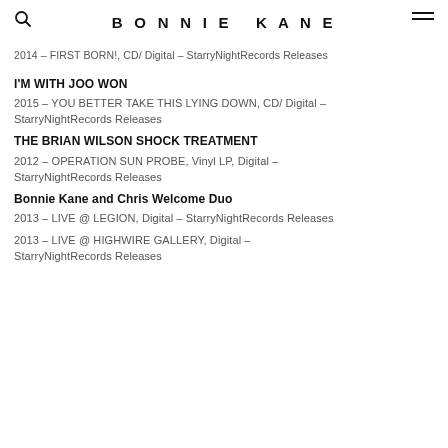BONNIE KANE
2014 – FIRST BORN!, CD/ Digital – StarryNightRecords Releases
I'M WITH JOO WON
2015 – YOU BETTER TAKE THIS LYING DOWN, CD/ Digital – StarryNightRecords Releases
THE BRIAN WILSON SHOCK TREATMENT
2012 – OPERATION SUN PROBE, Vinyl LP, Digital – StarryNightRecords Releases
Bonnie Kane and Chris Welcome Duo
2013 – LIVE @ LEGION, Digital – StarryNightRecords Releases
2013 – LIVE @ HIGHWIRE GALLERY, Digital – StarryNightRecords Releases